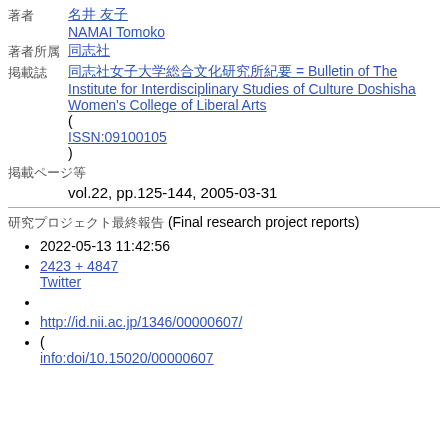著者
名井 友子 / NAMAI Tomoko
著者所属
同志社
掲載誌
同志社女子大学総合文化研究所紀要 = Bulletin of The Institute for Interdisciplinary Studies of Culture Doshisha Women's College of Liberal Arts ( ISSN:09100105 )
掲載ページ等
vol.22, pp.125-144, 2005-03-31
研究プロジェクト最終報告 (Final research project reports)
2022-05-13 11:42:56
2423 + 4847 Twitter
http://id.nii.ac.jp/1346/00000607/
( info:doi/10.15020/00000607